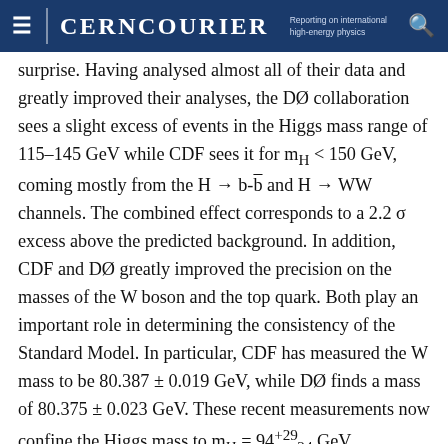CERN COURIER — Reporting on international high-energy physics
surprise. Having analysed almost all of their data and greatly improved their analyses, the DØ collaboration sees a slight excess of events in the Higgs mass range of 115–145 GeV while CDF sees it for m_H < 150 GeV, coming mostly from the H → b-b̄ and H → WW channels. The combined effect corresponds to a 2.2 σ excess above the predicted background. In addition, CDF and DØ greatly improved the precision on the masses of the W boson and the top quark. Both play an important role in determining the consistency of the Standard Model. In particular, CDF has measured the W mass to be 80.387 ± 0.019 GeV, while DØ finds a mass of 80.375 ± 0.023 GeV. These recent measurements now confine the Higgs mass to m_H = 94^{+29}_{-24} GeV.